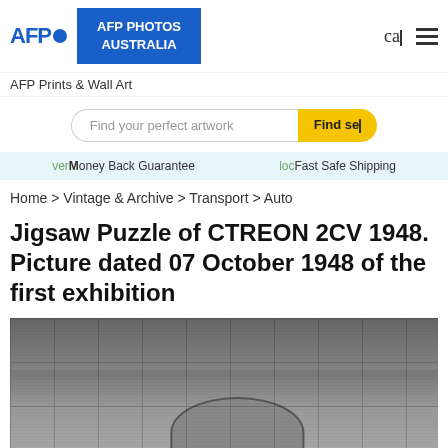AFP PHOTOS AUSTRALIA
AFP Prints & Wall Art
Find your perfect artwork
vet Money Back Guarantee  loc Fast Safe Shipping
Home > Vintage & Archive > Transport > Auto
Jigsaw Puzzle of CTREON 2CV 1948. Picture dated 07 October 1948 of the first exhibition
[Figure (photo): Black and white photograph showing a Citroen 2CV car at its first exhibition in 1948, surrounded by crowds of people on a street with buildings and signs visible in the background. The image has a jigsaw puzzle overlay effect.]